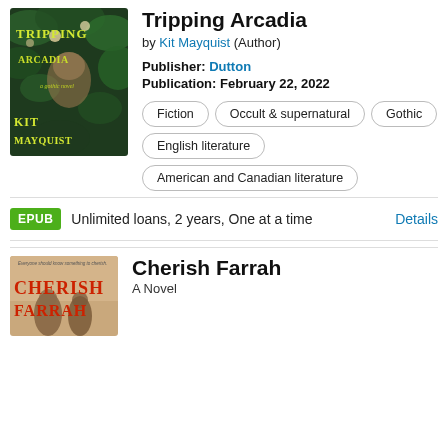[Figure (illustration): Book cover of 'Tripping Arcadia' by Kit Mayquist — dark green foliage background with a woman's face partially obscured, yellow gothic lettering]
Tripping Arcadia
by Kit Mayquist (Author)
Publisher: Dutton
Publication: February 22, 2022
Fiction
Occult & supernatural
Gothic
English literature
American and Canadian literature
EPUB  Unlimited loans, 2 years, One at a time  Details
[Figure (illustration): Book cover of 'Cherish Farrah' — red bold title text on a warm background with figures]
Cherish Farrah
A Novel